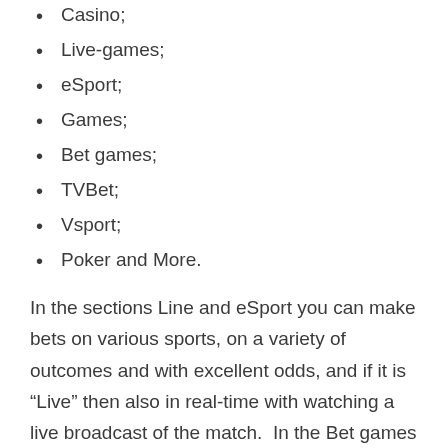Casino;
Live-games;
eSport;
Games;
Bet games;
TVBet;
Vsport;
Poker and More.
In the sections Line and eSport you can make bets on various sports, on a variety of outcomes and with excellent odds, and if it is “Live” then also in real-time with watching a live broadcast of the match. In the Bet games section, you can play different games and make